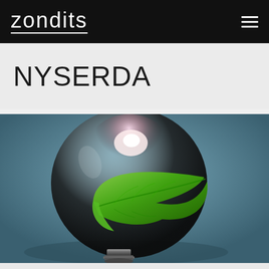zondits
NYSERDA
[Figure (photo): A glass incandescent light bulb lying on its side on a blue-gray surface, with a bright green leaf inside the bulb, glowing light at the top, conveying green/clean energy concept.]